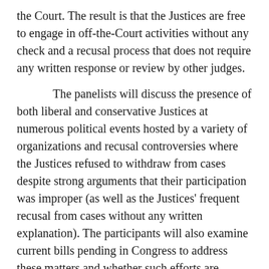the Court. The result is that the Justices are free to engage in off-the-Court activities without any check and a recusal process that does not require any written response or review by other judges.
The panelists will discuss the presence of both liberal and conservative Justices at numerous political events hosted by a variety of organizations and recusal controversies where the Justices refused to withdraw from cases despite strong arguments that their participation was improper (as well as the Justices' frequent recusal from cases without any written explanation). The participants will also examine current bills pending in Congress to address these matters and whether such efforts are needed and are constitutional.
C. The Writ of Certiorari
There are currently no formal constraints on how the Justices decide which cases they will hear. Supreme Court Rule 10 sets forth "considerations governing" cert